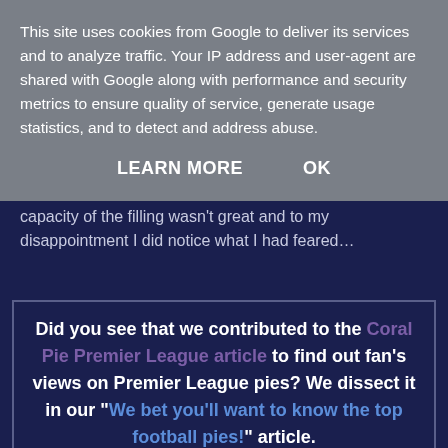This site uses cookies from Google to deliver its services and to analyze traffic. Your IP address and user-agent are shared with Google along with performance and security metrics to ensure quality of service, generate usage statistics, and to detect and address abuse.
LEARN MORE   OK
capacity of the filling wasn't great and to my disappointment I did notice what I had feared…
Did you see that we contributed to the Coral Pie Premier League article to find out fan's views on Premier League pies? We dissect it in our "We bet you'll want to know the top football pies!" article. Also see their short one minute video below for a summary of their results, including a shock response to the nation's favourite half time snack!